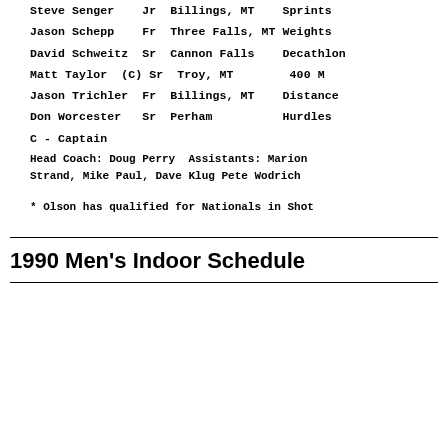Steve Senger    Jr  Billings, MT    Sprints
Jason Schepp    Fr  Three Falls, MT Weights
David Schweitz  Sr  Cannon Falls    Decathlon
Matt Taylor  (C) Sr  Troy, MT        400 M
Jason Trichler   Fr  Billings, MT    Distance
Don Worcester    Sr  Perham          Hurdles
C - Captain
Head Coach: Doug Perry  Assistants: Marion Strand, Mike Paul, Dave Klug Pete Wodrich
* Olson has qualified for Nationals in Shot
1990 Men's Indoor Schedule